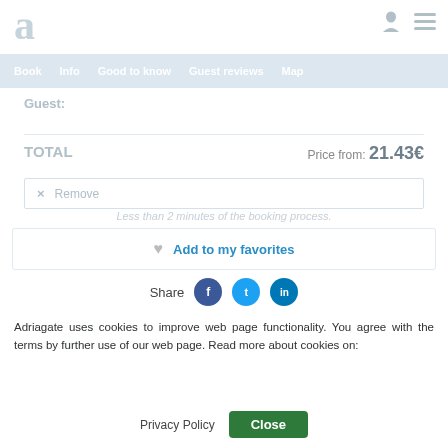[Figure (logo): Adriagate logo: large letter 'a' in light grey]
Book  Info  Good to know  Guest reviews  Map
Guest:
TOTAL  Price from: 21.43€
×  Remove
Less than 2 minutes of the booking process.
Add to my favorites
Share
Adriagate uses cookies to improve web page functionality. You agree with the terms by further use of our web page. Read more about cookies on:
Privacy Policy
Close